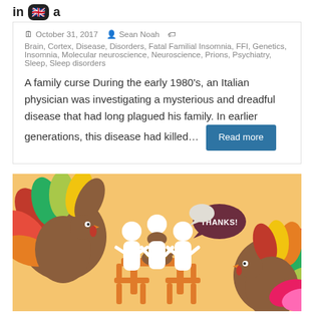ins...a
October 31, 2017  Sean Noah  Brain, Cortex, Disease, Disorders, Fatal Familial Insomnia, FFI, Genetics, Insomnia, Molecular neuroscience, Neuroscience, Prions, Psychiatry, Sleep, Sleep disorders
A family curse During the early 1980's, an Italian physician was investigating a mysterious and dreadful disease that had long plagued his family. In earlier generations, this disease had killed...
[Figure (illustration): Thanksgiving-themed illustration with orange background showing stick figures sitting at a table with a turkey, and two cartoon turkeys on the sides. A speech bubble says 'Thanks!']